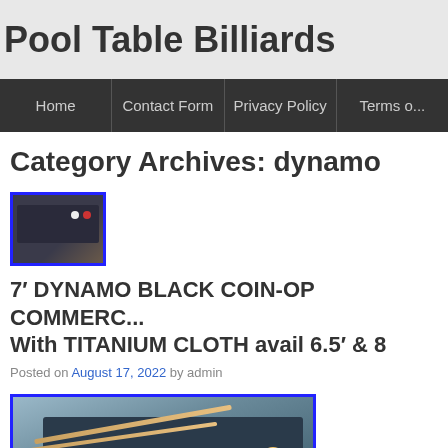Pool Table Billiards
Home | Contact Form | Privacy Policy | Terms o...
Category Archives: dynamo
[Figure (photo): Thumbnail photo of a black pool table with billiard balls]
7′ DYNAMO BLACK COIN-OP COMMERC... With TITANIUM CLOTH avail 6.5′ & 8
Posted on August 17, 2022 by admin
[Figure (photo): Photo of a dark pool table with two cue sticks and billiard balls in a shop setting]